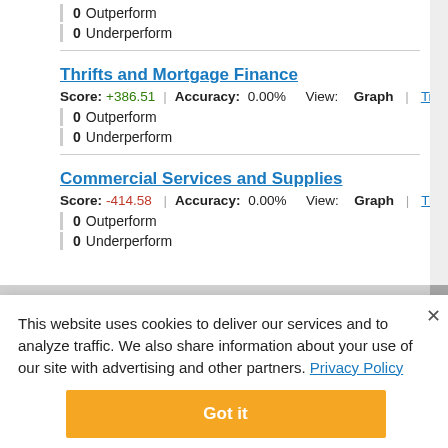0 Outperform
0 Underperform
Thrifts and Mortgage Finance
Score: +386.51 | Accuracy: 0.00% View: Graph | Tickers
0 Outperform
0 Underperform
Commercial Services and Supplies
Score: -414.58 | Accuracy: 0.00% View: Graph | Tickers
0 Outperform
0 Underperform
This website uses cookies to deliver our services and to analyze traffic. We also share information about your use of our site with advertising and other partners. Privacy Policy
Got it
Cookie Settings